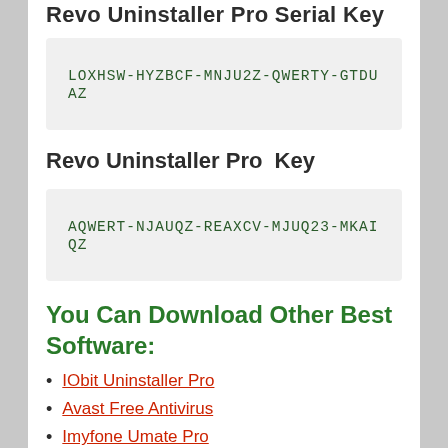Revo Uninstaller Pro Serial Key
LOXHSW-HYZBCF-MNJU2Z-QWERTY-GTDUAZ
Revo Uninstaller Pro Key
AQWERT-NJAUQZ-REAXCV-MJUQ23-MKAIQZ
You Can Download Other Best Software:
IObit Uninstaller Pro
Avast Free Antivirus
Imyfone Umate Pro